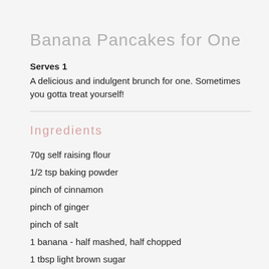Banana Pancakes for One
Serves 1
A delicious and indulgent brunch for one. Sometimes you gotta treat yourself!
Ingredients
70g self raising flour
1/2 tsp baking powder
pinch of cinnamon
pinch of ginger
pinch of salt
1 banana - half mashed, half chopped
1 tbsp light brown sugar
1 egg